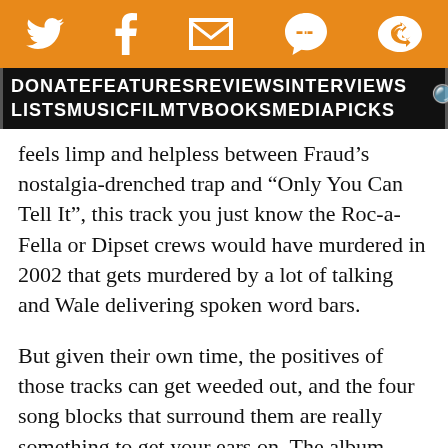Twitter | Facebook | Email | SMS | Share icons
DONATE FEATURES REVIEWS INTERVIEWS LISTS MUSIC FILM TV BOOKS MEDIA PICKS [search]
feels limp and helpless between Fraud’s nostalgia-drenched trap and “Only You Can Tell It”, this track you just know the Roc-a-Fella or Dipset crews would have murdered in 2002 that gets murdered by a lot of talking and Wale delivering spoken word bars.
But given their own time, the positives of those tracks can get weeded out, and the four song blocks that surround them are really something to get your ears on. The album ends with “I Am